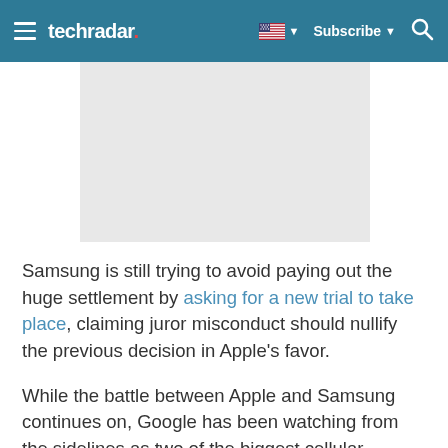techradar
[Figure (photo): Gray placeholder image rectangle]
Samsung is still trying to avoid paying out the huge settlement by asking for a new trial to take place, claiming juror misconduct should nullify the previous decision in Apple's favor.
While the battle between Apple and Samsung continues on, Google has been watching from the sidelines as two of the biggest cellular manufacturers go toe-to-toe over their innovations.